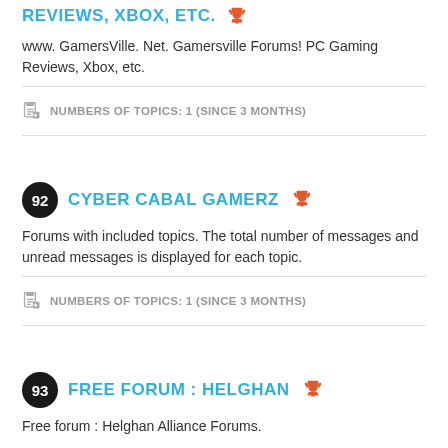REVIEWS, XBOX, ETC.
www. GamersVille. Net. Gamersville Forums! PC Gaming Reviews, Xbox, etc.
NUMBERS OF TOPICS: 1 (SINCE 3 MONTHS)
92 CYBER CABAL GAMERZ
Forums with included topics. The total number of messages and unread messages is displayed for each topic.
NUMBERS OF TOPICS: 1 (SINCE 3 MONTHS)
93 FREE FORUM : HELGHAN
Free forum : Helghan Alliance Forums.